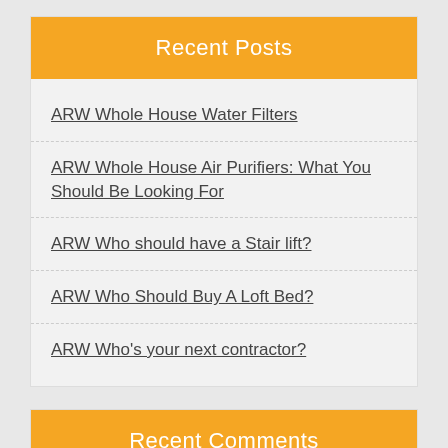Recent Posts
ARW Whole House Water Filters
ARW Whole House Air Purifiers: What You Should Be Looking For
ARW Who should have a Stair lift?
ARW Who Should Buy A Loft Bed?
ARW Who's your next contractor?
Recent Comments